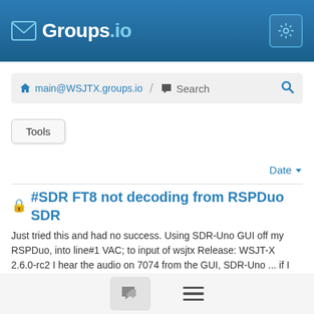Groups.io
main@WSJTX.groups.io / Search
Tools
Date
#SDR FT8 not decoding from RSPDuo SDR
Just tried this and had no success. Using SDR-Uno GUI off my RSPDuo, into line#1 VAC; to input of wsjtx Release: WSJT-X 2.6.0-rc2 I hear the audio on 7074 from the GUI, SDR-Uno ... if I choose a speak
By NR4U Bob AFMARS · #36790 · Jul 30
#SDR